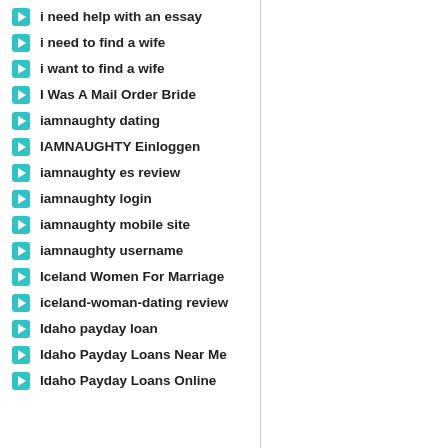i need help with an essay
i need to find a wife
i want to find a wife
I Was A Mail Order Bride
iamnaughty dating
IAMNAUGHTY Einloggen
iamnaughty es review
iamnaughty login
iamnaughty mobile site
iamnaughty username
Iceland Women For Marriage
iceland-woman-dating review
Idaho payday loan
Idaho Payday Loans Near Me
Idaho Payday Loans Online